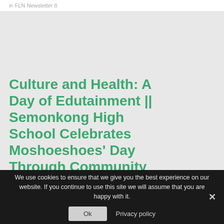in FLN Newsletter 8
Culture and Health: A Day of Edutainment || Semonkong High School Celebrates Moshoeshoes' Day Through Community Event
We use cookies to ensure that we give you the best experience on our website. If you continue to use this site we will assume that you are happy with it.
Ok
Privacy policy